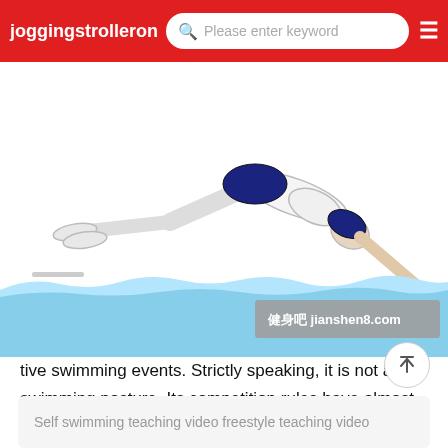joggingstrollerom  Please enter keyword
[Figure (illustration): Illustration of a swimmer diving into water, shown in a layout with a waterline graphic. Diver is in a streamlined position with arms extended forward and legs back. A watermark reads jianshen8.com]
tive swimming events. Strictly speaking, it is not a swimming posture. Its competition rules have almost no restrictions. Crawl is the most labor-saving swimming posture with reasonable structure, low resistance, uniform and fast speed. So people also call crawl freestyle
Self swimming teaching video freestyle teaching video